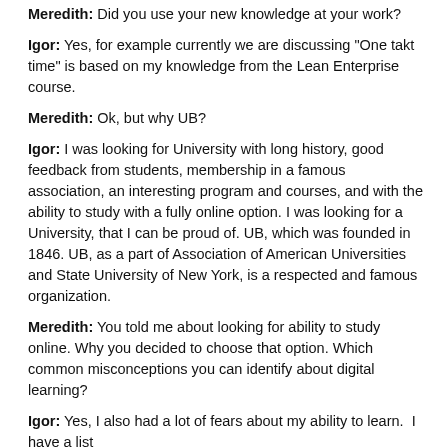Meredith: Did you use your new knowledge at your work?
Igor: Yes, for example currently we are discussing "One takt time" is based on my knowledge from the Lean Enterprise course.
Meredith: Ok, but why UB?
Igor: I was looking for University with long history, good feedback from students, membership in a famous association, an interesting program and courses, and with the ability to study with a fully online option. I was looking for a University, that I can be proud of. UB, which was founded in 1846. UB, as a part of Association of American Universities and State University of New York, is a respected and famous organization.
Meredith: You told me about looking for ability to study online. Why you decided to choose that option. Which common misconceptions you can identify about digital learning?
Igor: Yes, I also had a lot of fears about my ability to learn.  I have a list